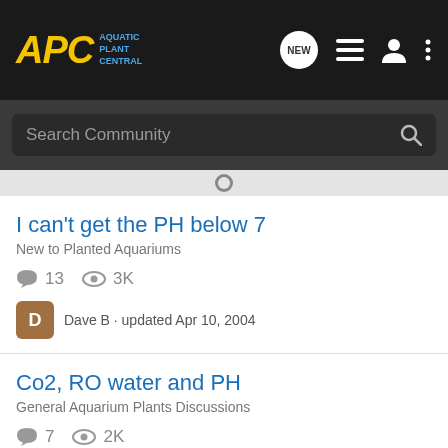APC Aquatic Plant Central
Search Community
I can't get the PH below 7
New to Planted Aquariums
13 replies · 3K views
Dave B · updated Apr 10, 2004
Co2, RO water and PH
General Aquarium Plants Discussions
7 replies · 2K views
Lauren · updated Apr 6, 2006